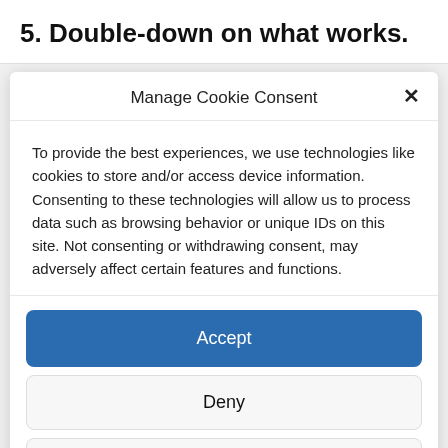5. Double-down on what works.
Manage Cookie Consent
To provide the best experiences, we use technologies like cookies to store and/or access device information. Consenting to these technologies will allow us to process data such as browsing behavior or unique IDs on this site. Not consenting or withdrawing consent, may adversely affect certain features and functions.
Accept
Deny
View preferences
Privacy Policy for DrFollower   Privacy Statement